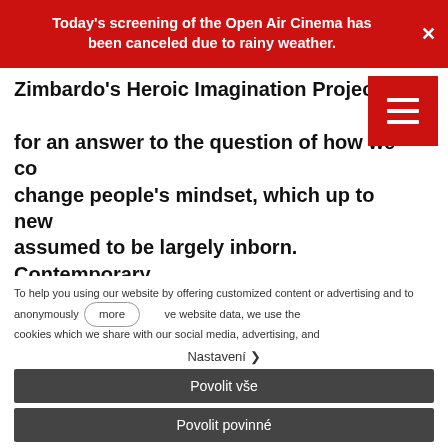Today's screening of the Open Air Cinema has been canceled due to rainy weather.
Zimbardo's Heroic Imagination Project, sea... for an answer to the question of how we co... change people's mindset, which up to new... assumed to be largely inborn. Contemporary psychology, which has introduced the concept of mindset, recognizes two types: fixed and growth. The difference between the two is key to our ability
[Figure (other): Hamburger menu icon — red square with three white horizontal lines]
To help you using our website by offering customized content or advertising and to anonymously ... the website data, we use the cookies which we share with our social media, advertising, and
more
Nastavení >
Povolit vše
Povolit povinné